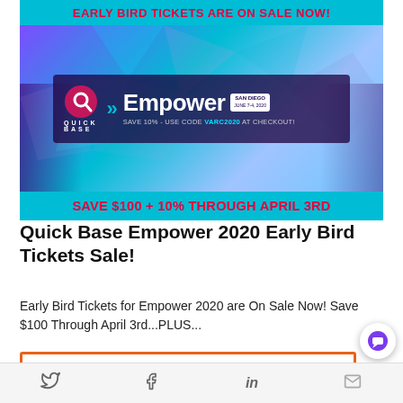[Figure (infographic): Quick Base Empower 2020 promotional banner. Top cyan bar reads 'EARLY BIRD TICKETS ARE ON SALE NOW!' in red. Main banner shows event photography with Quick Base logo, 'Empower' branding, 'SAN DIEGO' badge, and 'SAVE 10% - USE CODE VARC2020 AT CHECKOUT!'. Bottom cyan bar reads 'SAVE $100 + 10% THROUGH APRIL 3RD' in red.]
Quick Base Empower 2020 Early Bird Tickets Sale!
Early Bird Tickets for Empower 2020 are On Sale Now! Save $100 Through April 3rd...PLUS...
[Figure (infographic): Webinar promotional box with orange border and 'WEBINAR' text with arrow logo in orange.]
Twitter | Facebook | LinkedIn | Email share icons